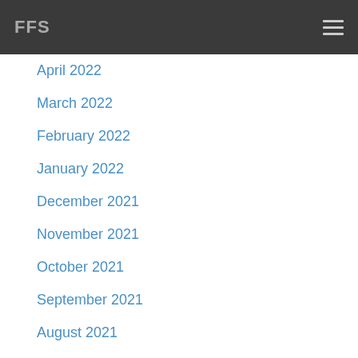FFS
April 2022
March 2022
February 2022
January 2022
December 2021
November 2021
October 2021
September 2021
August 2021
July 2021
June 2021
May 2021
April 2021
March 2021